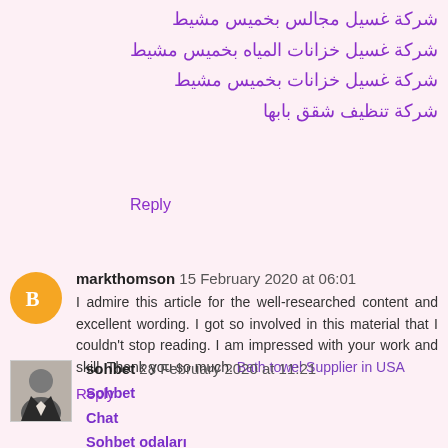شركة غسيل مجالس بخميس مشيط
شركة غسيل خزانات المياه بخميس مشيط
شركة غسيل خزانات بخميس مشيط
شركة تنظيف شقق بابها
Reply
markthomson  15 February 2020 at 06:01
I admire this article for the well-researched content and excellent wording. I got so involved in this material that I couldn't stop reading. I am impressed with your work and skill. Thank you so much. Bath towel Supplier in USA
Reply
sohbet  28 February 2020 at 11:21
Sohbet
Chat
Sohbet odaları
Sohbet siteleri